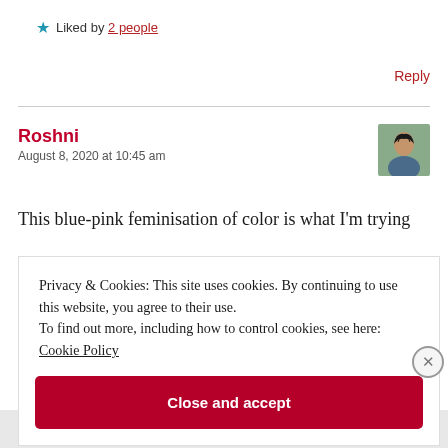★ Liked by 2 people
Reply
Roshni
August 8, 2020 at 10:45 am
This blue-pink feminisation of color is what I'm trying
Privacy & Cookies: This site uses cookies. By continuing to use this website, you agree to their use.
To find out more, including how to control cookies, see here: Cookie Policy
Close and accept